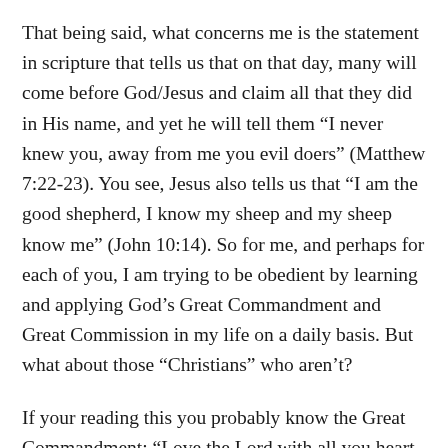That being said, what concerns me is the statement in scripture that tells us that on that day, many will come before God/Jesus and claim all that they did in His name, and yet he will tell them “I never knew you, away from me you evil doers” (Matthew 7:22-23). You see, Jesus also tells us that “I am the good shepherd, I know my sheep and my sheep know me” (John 10:14). So for me, and perhaps for each of you, I am trying to be obedient by learning and applying God’s Great Commandment and Great Commission in my life on a daily basis. But what about those “Christians” who aren’t?
If your reading this you probably know the Great Commandment; “Love the Lord with all you heart, mind and strength, and love your neighbor as yourself”